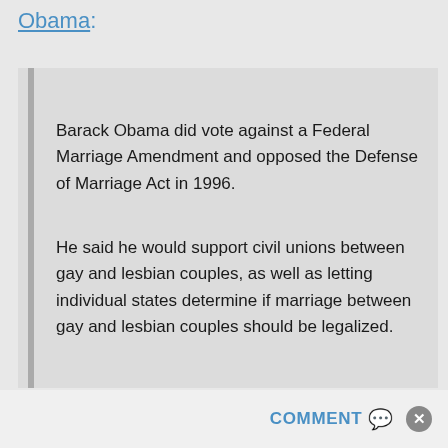Obama:
Barack Obama did vote against a Federal Marriage Amendment and opposed the Defense of Marriage Act in 1996.
He said he would support civil unions between gay and lesbian couples, as well as letting individual states determine if marriage between gay and lesbian couples should be legalized.
COMMENT ✉ ⊗